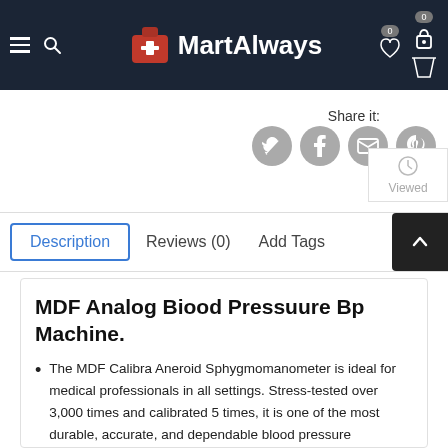MartAlways
Share it:
[Figure (other): Social share buttons: Twitter, Facebook, Email, Pinterest]
Viewed
Description | Reviews (0) | Add Tags
MDF Analog Biood Pressuure Bp Machine.
The MDF Calibra Aneroid Sphygmomanometer is ideal for medical professionals in all settings. Stress-tested over 3,000 times and calibrated 5 times, it is one of the most durable, accurate, and dependable blood pressure